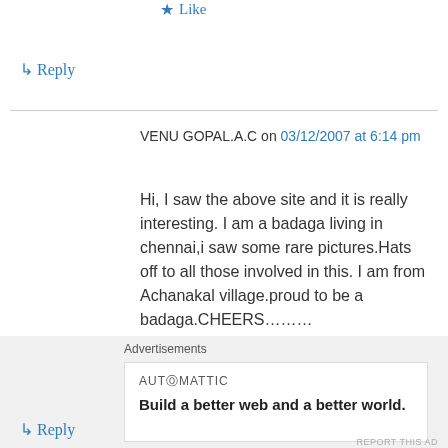★ Like
↳ Reply
VENU GOPAL.A.C on 03/12/2007 at 6:14 pm
Hi, I saw the above site and it is really interesting. I am a badaga living in chennai,i saw some rare pictures.Hats off to all those involved in this. I am from Achanakal village.proud to be a badaga.CHEERS………
★ Like
↳ Reply
Advertisements
AUTOMATTIC
Build a better web and a better world.